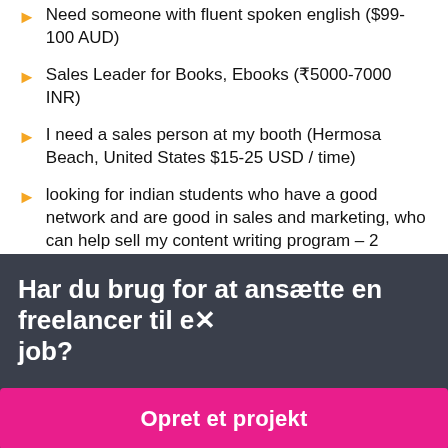Need someone with fluent spoken english ($99-100 AUD)
Sales Leader for Books, Ebooks (₹5000-7000 INR)
I need a sales person at my booth (Hermosa Beach, United States $15-25 USD / time)
looking for indian students who have a good network and are good in sales and marketing, who can help sell my content writing program – 2 (₹600-1500 INR)
call center specialist – 2 ($8-15 USD / time)
International Sales Freelance (Commission) - 52 ($30-250 USD)
Har du brug for at ansætte en freelancer til et job?
Opret et projekt